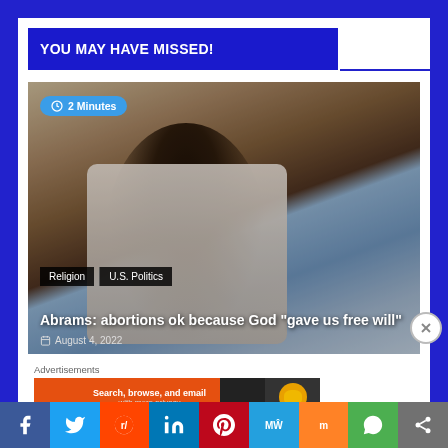YOU MAY HAVE MISSED!
[Figure (photo): Photo of a Black woman in a white jacket speaking at a microphone outdoors, with other people visible in the background. Time badge reads '2 Minutes'. Tags show 'Religion' and 'U.S. Politics'. Headline: 'Abrams: abortions ok because God "gave us free will"'. Date: August 4, 2022.]
Advertisements
Search, browse, and email with more privacy
Facebook | Twitter | Reddit | LinkedIn | Pinterest | MeWe | Mix | WhatsApp | Share